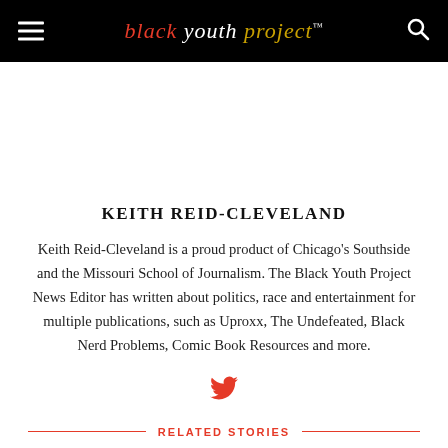black youth project™
KEITH REID-CLEVELAND
Keith Reid-Cleveland is a proud product of Chicago's Southside and the Missouri School of Journalism. The Black Youth Project News Editor has written about politics, race and entertainment for multiple publications, such as Uproxx, The Undefeated, Black Nerd Problems, Comic Book Resources and more.
[Figure (other): Twitter bird icon in red]
RELATED STORIES